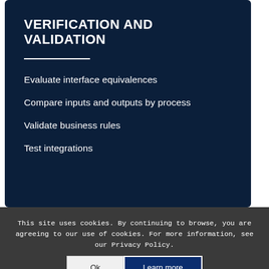VERIFICATION AND VALIDATION
Evaluate interface equivalences
Compare inputs and outputs by process
Validate business rules
Test integrations
This site uses cookies. By continuing to browse, you are agreeing to our use of cookies. For more information, see our Privacy Policy.
Ok
Learn more